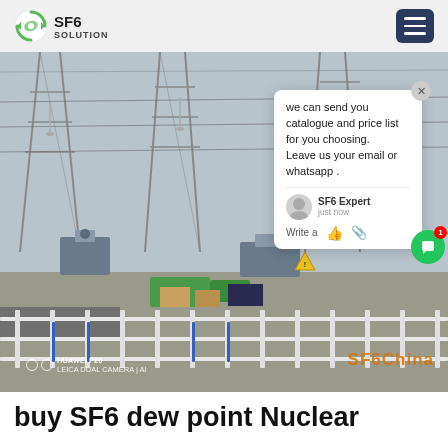SF6 SOLUTION
[Figure (photo): Outdoor electrical substation with large steel transmission structures, insulators, transformers, and a white safety fence in the foreground. A chat popup overlay is visible in the upper right of the image. Watermark reads 'SF6China'. HUAWEI P20 LEICA DUAL CAMERA | AI camera tag at bottom left.]
buy SF6 dew point Nuclear